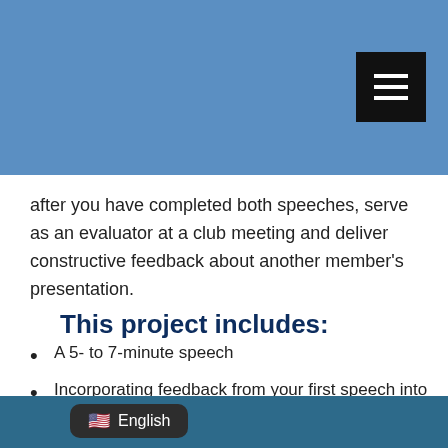after you have completed both speeches, serve as an evaluator at a club meeting and deliver constructive feedback about another member's presentation.
This project includes:
A 5- to 7-minute speech
Incorporating feedback from your first speech into a second 5- to 7-minute speech
Serving as a speech evaluator (you should receive a written evaluation on your performance)
English